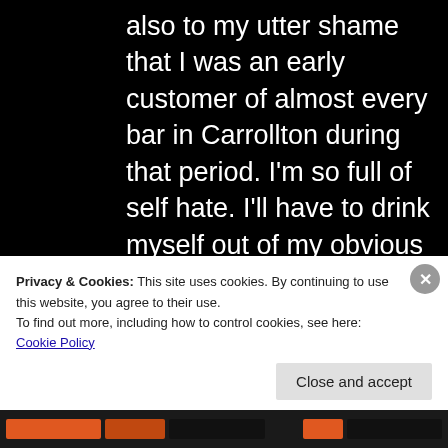also to my utter shame that I was an early customer of almost every bar in Carrollton during that period. I'm so full of self hate. I'll have to drink myself out of my obvious funk, maybe while dancing at the Maple Leaf.
★ Like
[Figure (screenshot): Cookie consent banner overlay with text: 'Privacy & Cookies: This site uses cookies. By continuing to use this website, you agree to their use. To find out more, including how to control cookies, see here: Cookie Policy' and a 'Close and accept' button.]